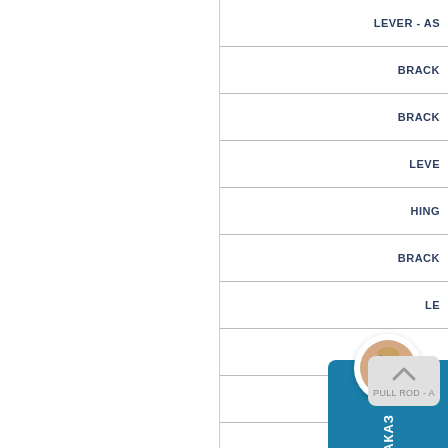| Part Name |
| --- |
| LEVER - AS... |
| BRACK... |
| BRACK... |
| LEVE... |
| HING... |
| BRACK... |
| LE... |
|  |
|  |
| PULL ROD - A... |
[Figure (illustration): Customer service representative widget with photo avatar, teal/blue background, Russian text 'СДЕЛАТЬ ЗАКАЗ' (Place an Order), displayed as a side-tab widget on the right edge of the page]
[Figure (illustration): Back to top button - gray rounded rectangle with upward chevron arrow and text 'PULL ROD - A' partially visible]